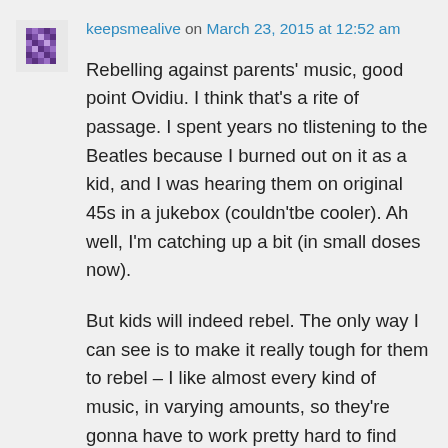[Figure (other): Purple pixel/avatar icon for user keepsmealive]
keepsmealive on March 23, 2015 at 12:52 am
Rebelling against parents' music, good point Ovidiu. I think that's a rite of passage. I spent years no tlistening to the Beatles because I burned out on it as a kid, and I was hearing them on original 45s in a jukebox (couldn'tbe cooler). Ah well, I'm catching up a bit (in small doses now).
But kids will indeed rebel. The only way I can see is to make it really tough for them to rebel – I like almost every kind of music, in varying amounts, so they're gonna have to work pretty hard to find stuff that drives me nuts. Unless it's whatever pop tart du